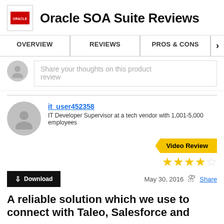Oracle SOA Suite Reviews
[Figure (logo): Oracle logo — red square with white ORACLE text]
OVERVIEW   REVIEWS   PROS & CONS
Share your thoughts on this product review
it_user452358
IT Developer Supervisor at a tech vendor with 1,001-5,000 employees
Video Review
★★★★☆  May 30, 2016  Share
A reliable solution which we use to connect with Taleo, Salesforce and